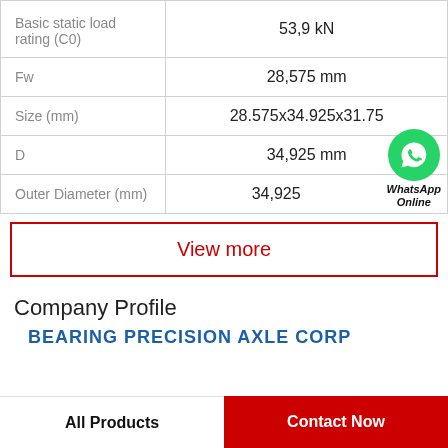| Property | Value |
| --- | --- |
| Basic static load rating (C0) | 53,9 kN |
| Fw | 28,575 mm |
| Size (mm) | 28.575x34.925x31.75 |
| D | 34,925 mm |
| Outer Diameter (mm) | 34,925 |
[Figure (logo): WhatsApp green circle phone icon with text 'WhatsApp Online']
View more
Company Profile
BEARING PRECISION AXLE CORP
All Products
Contact Now